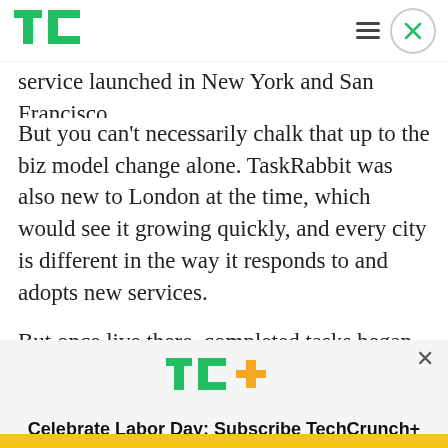[Figure (logo): TechCrunch TC logo in green]
service launched in New York and San Francisco. But you can't necessarily chalk that up to the biz model change alone. TaskRabbit was also new to London at the time, which would see it growing quickly, and every city is different in the way it responds to and adopts new services.
But once live there, completed tasks began to grow,
[Figure (logo): TechCrunch TC+ logo with green TC and orange plus sign]
Celebrate Labor Day: Subscribe TechCrunch+ Today Only for $90/Year.
GET OFFER NOW